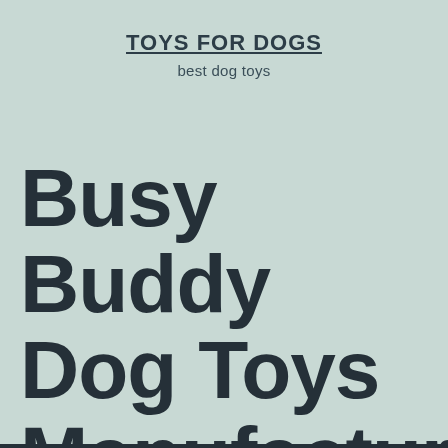TOYS FOR DOGS
best dog toys
Busy Buddy Dog Toys Manufacturer